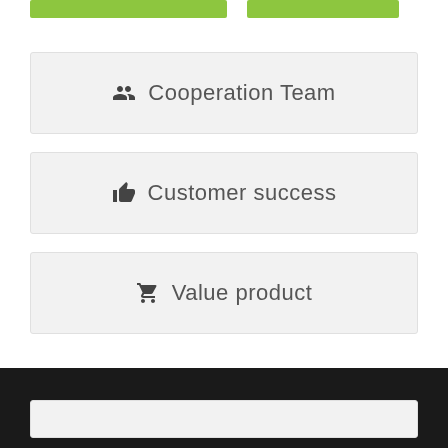[Figure (infographic): Two green bars at the top of the page side by side]
Cooperation Team
Customer success
Value product
Dark footer bar with a light inner box